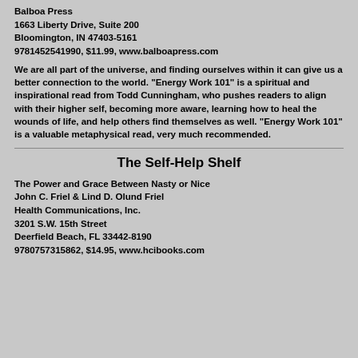Balboa Press
1663 Liberty Drive, Suite 200
Bloomington, IN 47403-5161
9781452541990, $11.99, www.balboapress.com
We are all part of the universe, and finding ourselves within it can give us a better connection to the world. "Energy Work 101" is a spiritual and inspirational read from Todd Cunningham, who pushes readers to align with their higher self, becoming more aware, learning how to heal the wounds of life, and help others find themselves as well. "Energy Work 101" is a valuable metaphysical read, very much recommended.
The Self-Help Shelf
The Power and Grace Between Nasty or Nice
John C. Friel & Lind D. Olund Friel
Health Communications, Inc.
3201 S.W. 15th Street
Deerfield Beach, FL 33442-8190
9780757315862, $14.95, www.hcibooks.com